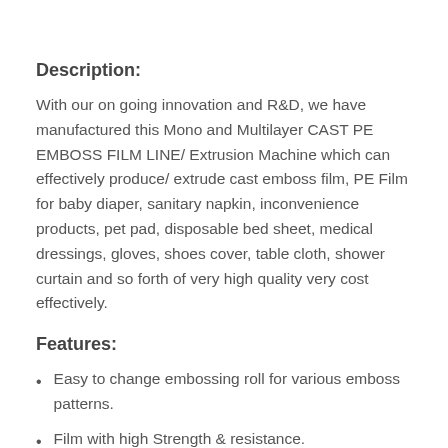Description:
With our on going innovation and R&D, we have manufactured this Mono and Multilayer CAST PE EMBOSS FILM LINE/ Extrusion Machine which can effectively produce/ extrude cast emboss film, PE Film for baby diaper, sanitary napkin, inconvenience products, pet pad, disposable bed sheet, medical dressings, gloves, shoes cover, table cloth, shower curtain and so forth of very high quality very cost effectively.
Features:
Easy to change embossing roll for various emboss patterns.
Film with high Strength & resistance.